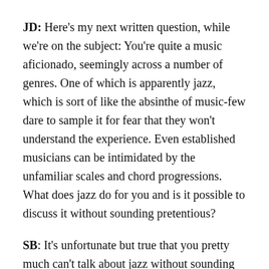JD: Here's my next written question, while we're on the subject: You're quite a music aficionado, seemingly across a number of genres. One of which is apparently jazz, which is sort of like the absinthe of music-few dare to sample it for fear that they won't understand the experience. Even established musicians can be intimidated by the unfamiliar scales and chord progressions. What does jazz do for you and is it possible to discuss it without sounding pretentious?
SB: It's unfortunate but true that you pretty much can't talk about jazz without sounding